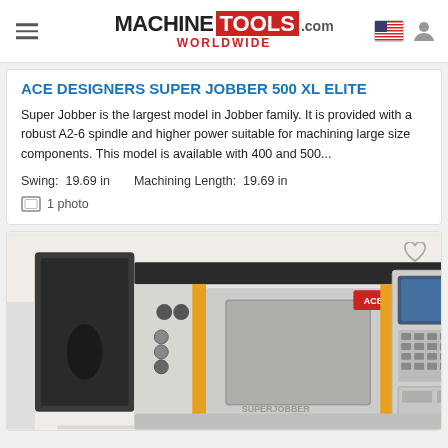MACHINETOOLS.com WORLDWIDE
ACE DESIGNERS SUPER JOBBER 500 XL ELITE
Super Jobber is the largest model in Jobber family. It is provided with a robust A2-6 spindle and higher power suitable for machining large size components. This model is available with 400 and 500...
Swing: 19.69 in    Machining Length: 19.69 in
1 photo
[Figure (photo): CNC lathe machine - ACE Designers Super Jobber 500 XL Elite, showing the machine body with yellow/orange accents, control panel, spindle area, and CNC controller unit on the right side]